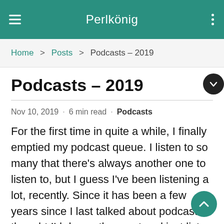Perlkönig
Home > Posts > Podcasts – 2019
Podcasts – 2019
Nov 10, 2019 · 6 min read · Podcasts
For the first time in quite a while, I finally emptied my podcast queue. I listen to so many that there's always another one to listen to, but I guess I've been listening a lot, recently. Since it has been a few years since I last talked about podcasts, I thought I'd do another post and just list a few of my favourites. Here are 20 or so (out of about 80), roughly categorized, in no